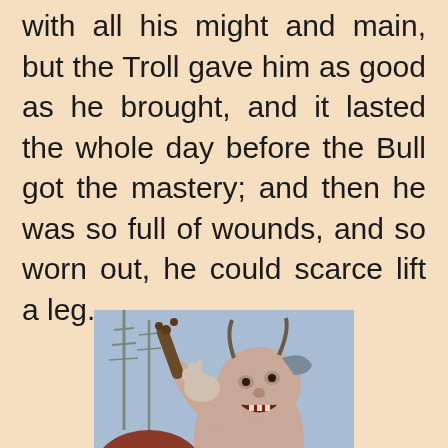with all his might and main, but the Troll gave him as good as he brought, and it lasted the whole day before the Bull got the mastery; and then he was so full of wounds, and so worn out, he could scarce lift a leg.
[Figure (illustration): An illustration of a troll or monster fighting, gripping a club or weapon, with a fierce expression, shown in a painterly style against a background of bare trees.]